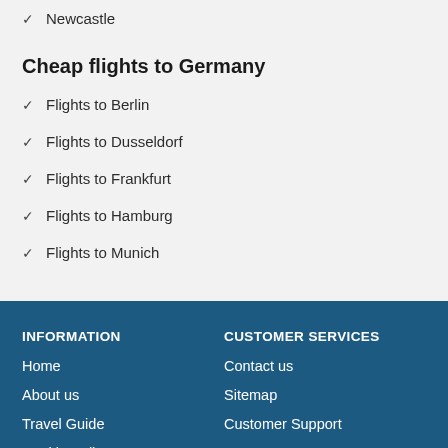Newcastle
Cheap flights to Germany
Flights to Berlin
Flights to Dusseldorf
Flights to Frankfurt
Flights to Hamburg
Flights to Munich
INFORMATION
Home
About us
Travel Guide
Cookie Policy
Terms & Conditions
CUSTOMER SERVICES
Contact us
Sitemap
Customer Support
Chat with us